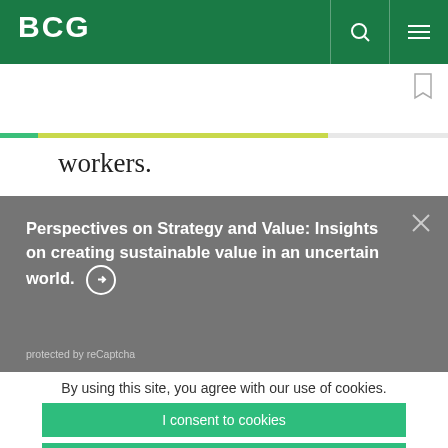BCG
workers.
Perspectives on Strategy and Value: Insights on creating sustainable value in an uncertain world.
protected by reCaptcha
By using this site, you agree with our use of cookies.
I consent to cookies
Want to know more?
Read our Cookie Policy